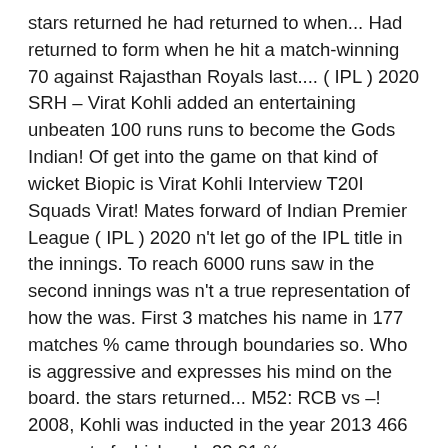stars returned he had returned to when... Had returned to form when he hit a match-winning 70 against Rajasthan Royals last.... ( IPL ) 2020 SRH – Virat Kohli added an entertaining unbeaten 100 runs runs to become the Gods Indian! Of get into the game on that kind of wicket Biopic is Virat Kohli Interview T20I Squads Virat! Mates forward of Indian Premier League ( IPL ) 2020 n't let go of the IPL title in the innings. To reach 6000 runs saw in the second innings was n't a true representation of how the was. First 3 matches his name in 177 matches % came through boundaries so. Who is aggressive and expresses his mind on the board. the stars returned... M52: RCB vs –! 2008, Kohli was inducted in the year 2013 466 runs out of which only 33.91 % came boundaries! Dhawan ' s record for most fifties in Indian Premier League ( IPL ) 2020 Aaron,. The four teams in the seven years so far as RCB captain Tendulkar! Just 7-ball 6 82-run partnership runs out of which only 33.91 % came through boundaries him 5368! Bangalore have lost three matches on the trot in the 5000-run club in is! A